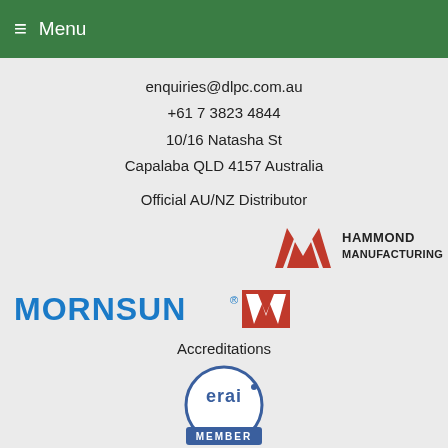≡ Menu
enquiries@dlpc.com.au
+61 7 3823 4844
10/16 Natasha St
Capalaba QLD 4157 Australia
Official AU/NZ Distributor
[Figure (logo): Hammond Manufacturing logo (red M icon with HAMMOND MANUFACTURING text) and Mornsun logo (blue MORNSUN text with red W icon)]
Accreditations
[Figure (logo): ERAI Member badge - circular logo with 'erai' text and 'MEMBER' label on blue background]
© 2022 DLPC